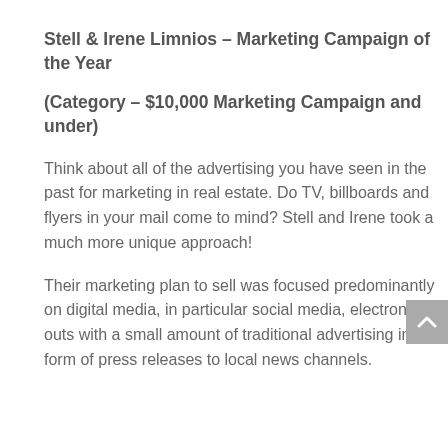Stell & Irene Limnios – Marketing Campaign of the Year
(Category – $10,000 Marketing Campaign and under)
Think about all of the advertising you have seen in the past for marketing in real estate. Do TV, billboards and flyers in your mail come to mind? Stell and Irene took a much more unique approach!
Their marketing plan to sell was focused predominantly on digital media, in particular social media, electronic mail outs with a small amount of traditional advertising in the form of press releases to local news channels.